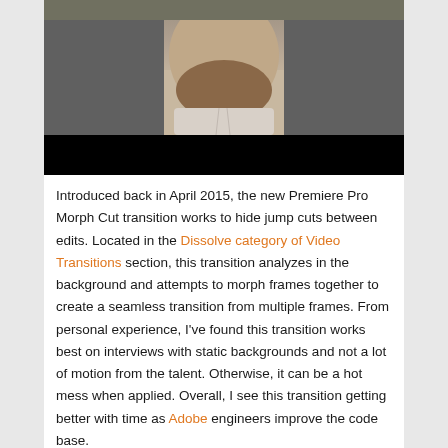[Figure (screenshot): YouTube video thumbnail showing a bearded man in a light shirt, with the YouTube play button icon at the top center, an Adobe logo in the upper left, and a black bar at the bottom.]
Introduced back in April 2015, the new Premiere Pro Morph Cut transition works to hide jump cuts between edits. Located in the Dissolve category of Video Transitions section, this transition analyzes in the background and attempts to morph frames together to create a seamless transition from multiple frames. From personal experience, I've found this transition works best on interviews with static backgrounds and not a lot of motion from the talent. Otherwise, it can be a hot mess when applied. Overall, I see this transition getting better with time as Adobe engineers improve the code base.